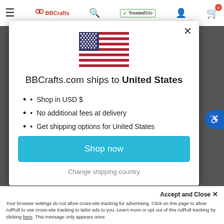BBCrafts.com navigation bar with hamburger menu, logo, search, TrustedSite badge, user icon, and cart (0)
[Figure (illustration): US flag SVG illustration centered at top of modal]
BBCrafts.com ships to United States
Shop in USD $
No additional fees at delivery
Get shipping options for United States
Shop now
Change shipping country
Accept and Close ✕
Your browser settings do not allow cross-site tracking for advertising. Click on this page to allow AdRoll to use cross-site tracking to tailor ads to you. Learn more or opt out of this AdRoll tracking by clicking here. This message only appears once.